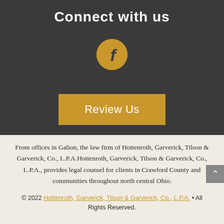Connect with us
[Figure (illustration): Facebook icon: gold/amber circle with a lowercase italic 'f' in dark color]
Review Us
From offices in Galion, the law firm of Hottenroth, Garverick, Tilson & Garverick, Co., L.P.A.Hottenroth, Garverick, Tilson & Garverick, Co., L.P.A., provides legal counsel for clients in Crawford County and communities throughout north central Ohio.
© 2022 Hottenroth, Garverick, Tilson & Garverick, Co., L.P.A. • All Rights Reserved.